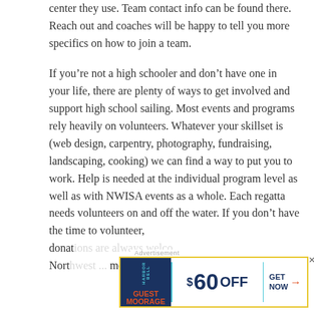center they use. Team contact info can be found there. Reach out and coaches will be happy to tell you more specifics on how to join a team.
If you're not a high schooler and don't have one in your life, there are plenty of ways to get involved and support high school sailing. Most events and programs rely heavily on volunteers. Whatever your skillset is (web design, carpentry, photography, fundraising, landscaping, cooking) we can find a way to put you to work. Help is needed at the individual program level as well as with NWISA events as a whole. Each regatta needs volunteers on and off the water. If you don't have the time to volunteer, donat... North... ome.
[Figure (other): Advertisement banner for Bell Harbor Guest Moorage offering $60 OFF with a 'GET NOW' call-to-action button. Gold/yellow border, navy left panel with cyan and orange text, large bold '$60 OFF' in navy, cyan divider lines.]